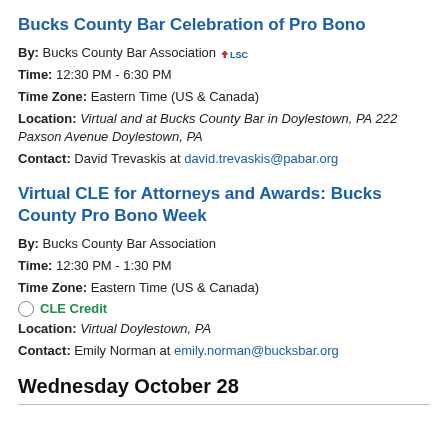Bucks County Bar Celebration of Pro Bono
By: Bucks County Bar Association [LSC logo]
Time: 12:30 PM - 6:30 PM
Time Zone: Eastern Time (US & Canada)
Location: Virtual and at Bucks County Bar in Doylestown, PA 222 Paxson Avenue Doylestown, PA
Contact: David Trevaskis at david.trevaskis@pabar.org
Virtual CLE for Attorneys and Awards: Bucks County Pro Bono Week
By: Bucks County Bar Association
Time: 12:30 PM - 1:30 PM
Time Zone: Eastern Time (US & Canada)
CLE Credit
Location: Virtual Doylestown, PA
Contact: Emily Norman at emily.norman@bucksbar.org
Wednesday October 28